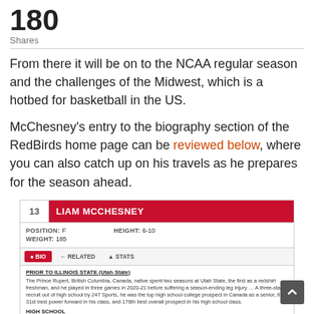180
Shares
From there it will be on to the NCAA regular season and the challenges of the Midwest, which is a hotbed for basketball in the US.
McChesney’s entry to the biography section of the RedBirds home page can be reviewed below, where you can also catch up on his travels as he prepares for the season ahead.
[Figure (screenshot): Player profile card for #13 Liam McChesney showing position F, height 6-10, weight 185, with BIO/RELATED/STATS tabs and biography text about prior time at Utah State and high school info.]